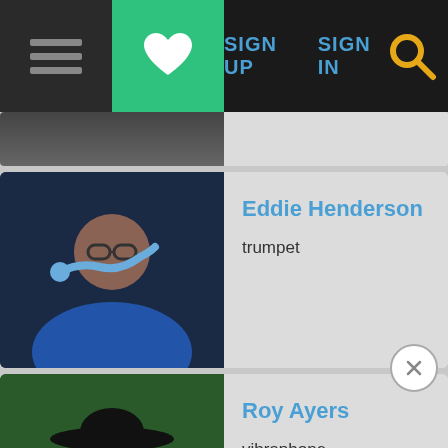[Figure (screenshot): Navigation bar with hamburger menu, green heart button, SIGN UP and SIGN IN links in blue, and orange search icon on dark background]
[Figure (photo): Partial cropped photo of a musician, black and white, at top of list]
[Figure (photo): Eddie Henderson playing trumpet, wearing blue jacket and glasses]
Eddie Henderson
trumpet
[Figure (photo): Roy Ayers holding vibraphone mallets, wearing dark hat and sunglasses, green background]
Roy Ayers
vibraphone
[Figure (photo): Doug Carn seated at keyboard instrument, dark lighting]
Doug Carn
keyboards
[Figure (photo): Partial view of another artist card below Doug Carn]
Jazz Crusaders (partially visible)